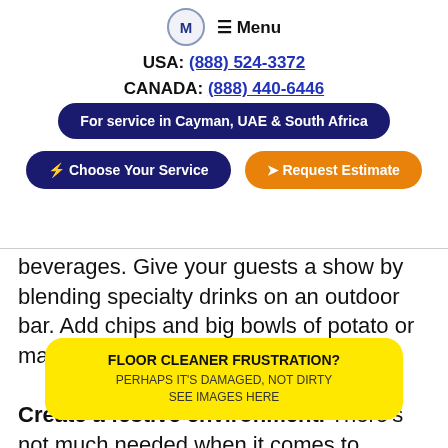M  ≡ Menu
USA: (888) 524-3372
CANADA: (888) 440-6446
For service in Cayman, UAE & South Africa
⚡ Choose Your Service   ➤ Request Estimate
beverages. Give your guests a show by blending specialty drinks on an outdoor bar. Add chips and big bowls of potato or macaroni salad, and you're all set.
Create a festive environment. There's not much needed when it comes to decorating for a pool pa... ful potted pl... k is a lovely touch. If you're entertaining in the
[Figure (infographic): Yellow rounded popup box with bold text: FLOOR CLEANER FRUSTRATION? PERHAPS IT'S DAMAGED, NOT DIRTY SEE IMAGES HERE]